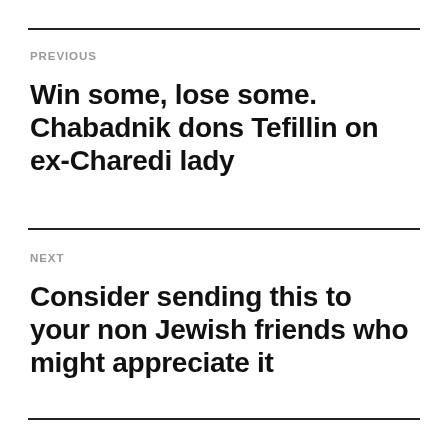PREVIOUS
Win some, lose some. Chabadnik dons Tefillin on ex-Charedi lady
NEXT
Consider sending this to your non Jewish friends who might appreciate it